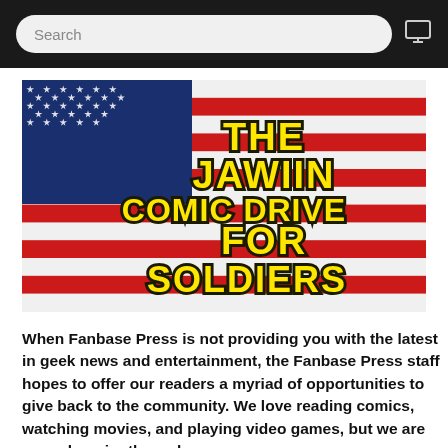Search
[Figure (illustration): American flag background with bold yellow text overlay reading 'THE JAWIIN COMIC DRIVE FOR SOLDIERS']
When Fanbase Press is not providing you with the latest in geek news and entertainment, the Fanbase Press staff hopes to offer our readers a myriad of opportunities to give back to the community. We love reading comics, watching movies, and playing video games, but we are never happier than when we